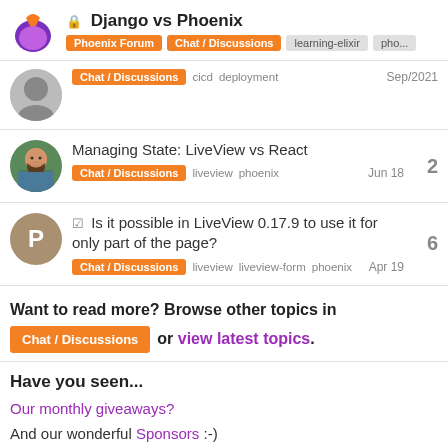Django vs Phoenix — Phoenix Forum | Chat / Discussions | learning-elixir | pho...
Chat / Discussions  cicd  deployment  Sep/2021
Managing State: LiveView vs React
Chat / Discussions  liveview  phoenix  Jun 18  2
Is it possible in LiveView 0.17.9 to use it for only part of the page?
Chat / Discussions  liveview  liveview-form  phoenix  Apr 19  6
Want to read more? Browse other topics in Chat / Discussions or view latest topics.
Have you seen...
Our monthly giveaways?
And our wonderful Sponsors :-)